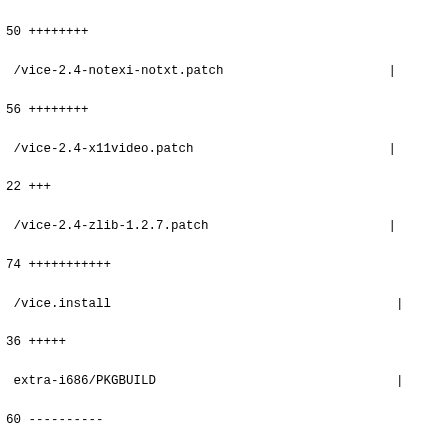50 ++++++++
 /vice-2.4-notexi-notxt.patch                        |
56 ++++++++
 /vice-2.4-x11video.patch                            |
22 +++
 /vice-2.4-zlib-1.2.7.patch                          |
74 +++++++++++
 /vice.install                                        |
36 +++++
 extra-i686/PKGBUILD                                  |
60 ----------
 extra-i686/vice-2.4-giflib-5.1.0.patch               |
39 ------
 extra-i686/vice-2.4-no-fc-cache-no-lib64.patch       |
25 ----
 extra-i686/vice-2.4-notexi-notxt.patch               |
28 ----
 extra-i686/vice-2.4-x11video.patch                   |
11 -
 extra-i686/vice-2.4-zlib-1.2.7.patch                 |
37 ------
 extra-i686/vice.install                              |
18 ---
 extra-x86_64/PKGBUILD                               |
60 ----------
 extra-x86_64/vice-2.4-giflib-5.1.0.patch             |
39 ------
 extra-x86_64/vice-2.4-no-fc-cache-no-lib64.patch    |
25 ----
 extra-x86_64/vice-2.4-notexi-notxt.patch             |